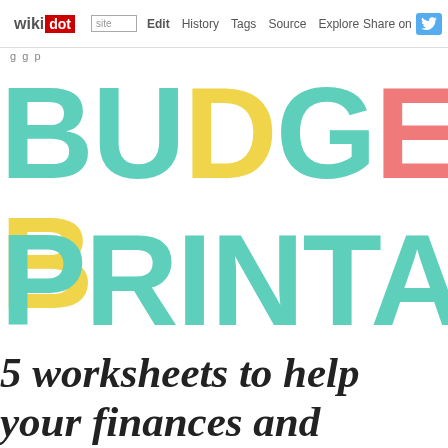wikidot | Edit | History | Tags | Source | Explore | Share on
BUDGET B...
PRINTA...
5 worksheets to help your finances and